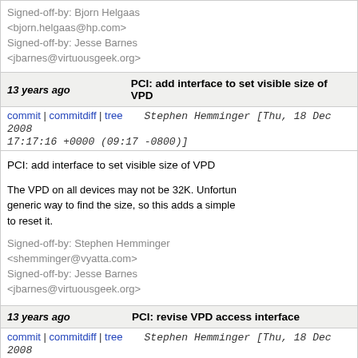Signed-off-by: Bjorn Helgaas <bjorn.helgaas@hp.com>
Signed-off-by: Jesse Barnes <jbarnes@virtuousgeek.org>
| 13 years ago | PCI: add interface to set visible size of VPD |
| --- | --- |
| commit | commitdiff | tree | Stephen Hemminger [Thu, 18 Dec 2008 17:17:16 +0000 (09:17 -0800)] |
|  | PCI: add interface to set visible size of VPD

The VPD on all devices may not be 32K. Unfortunately there is no generic way to find the size, so this adds a simple interface to reset it.

Signed-off-by: Stephen Hemminger <shemminger@vyatta.com>
Signed-off-by: Jesse Barnes <jbarnes@virtuousgeek.org> |
| 13 years ago | PCI: revise VPD access interface |
| commit | commitdiff | tree | Stephen Hemminger [Thu, 18 Dec 2008 17:17:16 +0000 (09:17 -0800)] |
|  | PCI: revise VPD access interface

Change PCI VPD API which was only used by sys in drivers. |